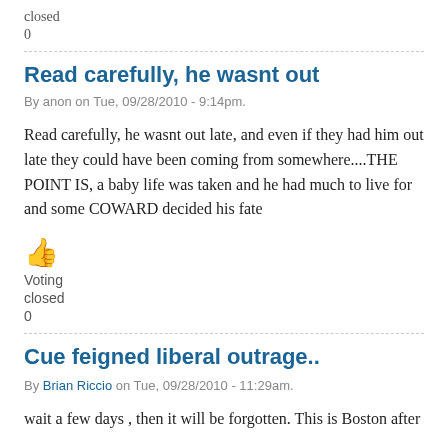closed
0
Read carefully, he wasnt out
By anon on Tue, 09/28/2010 - 9:14pm.
Read carefully, he wasnt out late, and even if they had him out late they could have been coming from somewhere....THE POINT IS, a baby life was taken and he had much to live for and some COWARD decided his fate
👍 Voting closed 0
Cue feigned liberal outrage..
By Brian Riccio on Tue, 09/28/2010 - 11:29am.
wait a few days , then it will be forgotten. This is Boston after